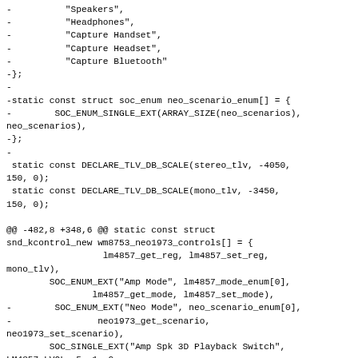- "Speakers",
- "Headphones",
- "Capture Handset",
- "Capture Headset",
- "Capture Bluetooth"
-};
-
-static const struct soc_enum neo_scenario_enum[] = {
-        SOC_ENUM_SINGLE_EXT(ARRAY_SIZE(neo_scenarios),
neo_scenarios),
-};
-
 static const DECLARE_TLV_DB_SCALE(stereo_tlv, -4050,
150, 0);
 static const DECLARE_TLV_DB_SCALE(mono_tlv, -3450,
150, 0);

@@ -482,8 +348,6 @@ static const struct
snd_kcontrol_new wm8753_neo1973_controls[] = {
                  lm4857_get_reg, lm4857_set_reg,
mono_tlv),
        SOC_ENUM_EXT("Amp Mode", lm4857_mode_enum[0],
                lm4857_get_mode, lm4857_set_mode),
-        SOC_ENUM_EXT("Neo Mode", neo_scenario_enum[0],
-                neo1973_get_scenario,
neo1973_set_scenario),
        SOC_SINGLE_EXT("Amp Spk 3D Playback Switch",
LM4857_LVOL, 5, 1, 0,
                lm4857_get_reg, lm4857_set_reg),
      SOC_SINGLE_EXT("Amp UP 3d Playback Switch",